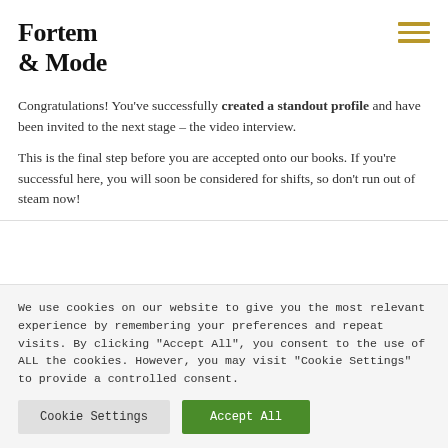Fortem & Mode
Congratulations! You've successfully created a standout profile and have been invited to the next stage – the video interview.
This is the final step before you are accepted onto our books. If you're successful here, you will soon be considered for shifts, so don't run out of steam now!
We use cookies on our website to give you the most relevant experience by remembering your preferences and repeat visits. By clicking "Accept All", you consent to the use of ALL the cookies. However, you may visit "Cookie Settings" to provide a controlled consent.